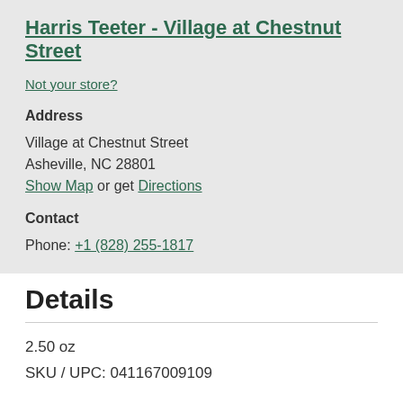Harris Teeter - Village at Chestnut Street
Not your store?
Address
Village at Chestnut Street
Asheville, NC 28801
Show Map or get Directions
Contact
Phone: +1 (828) 255-1817
Details
2.50 oz
SKU / UPC: 041167009109
Other Info